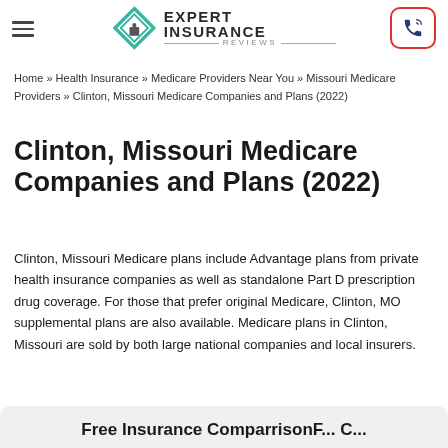Expert Insurance Reviews
Home » Health Insurance » Medicare Providers Near You » Missouri Medicare Providers » Clinton, Missouri Medicare Companies and Plans (2022)
Clinton, Missouri Medicare Companies and Plans (2022)
Clinton, Missouri Medicare plans include Advantage plans from private health insurance companies as well as standalone Part D prescription drug coverage. For those that prefer original Medicare, Clinton, MO supplemental plans are also available. Medicare plans in Clinton, Missouri are sold by both large national companies and local insurers.
Free Insurance Comparison...